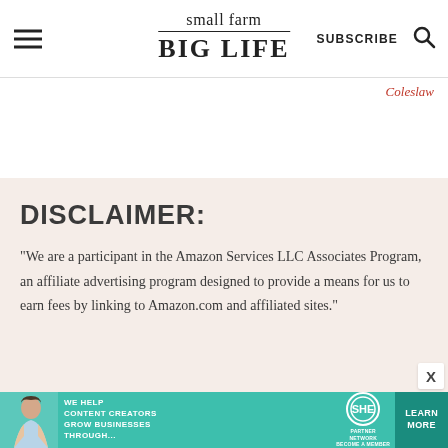small farm BIG LIFE — SUBSCRIBE
Coleslaw
DISCLAIMER:
“We are a participant in the Amazon Services LLC Associates Program, an affiliate advertising program designed to provide a means for us to earn fees by linking to Amazon.com and affiliated sites.”
[Figure (infographic): SHE Partner Network advertisement banner: woman with laptop, text WE HELP CONTENT CREATORS GROW BUSINESSES THROUGH..., SHE PARTNER NETWORK BECOME A MEMBER logo, LEARN MORE button]
X